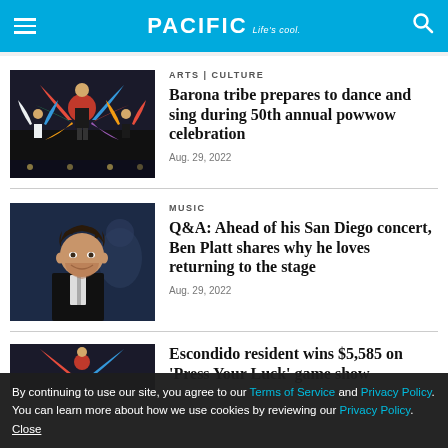PACIFIC Life's cool
ARTS | CULTURE
Barona tribe prepares to dance and sing during 50th annual powwow celebration
Aug. 29, 2022
MUSIC
Q&A: Ahead of his San Diego concert, Ben Platt shares why he loves returning to the stage
Aug. 29, 2022
By continuing to use our site, you agree to our Terms of Service and Privacy Policy. You can learn more about how we use cookies by reviewing our Privacy Policy. Close
Escondido resident wins $5,585 on 'Press Your Luck' game show